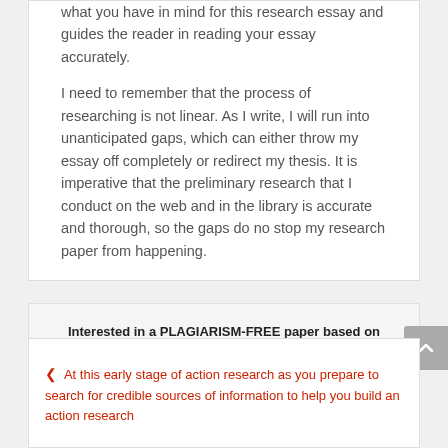what you have in mind for this research essay and guides the reader in reading your essay accurately.
I need to remember that the process of researching is not linear. As I write, I will run into unanticipated gaps, which can either throw my essay off completely or redirect my thesis. It is imperative that the preliminary research that I conduct on the web and in the library is accurate and thorough, so the gaps do no stop my research paper from happening.
Interested in a PLAGIARISM-FREE paper based on these particular instructions?...with 100% confidentiality?
ORDER NOW
At this early stage of action research as you prepare to search for credible sources of information to help you build an action research